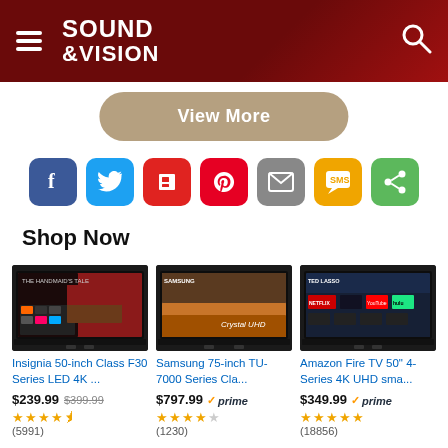Sound & Vision
View More
[Figure (infographic): Social sharing icons row: Facebook, Twitter, Flipboard, Pinterest, Email, SMS, Share]
Shop Now
[Figure (photo): Insignia 50-inch Class F30 Series LED 4K TV product image]
Insignia 50-inch Class F30 Series LED 4K ...
$239.99  $399.99
★★★★½ (5991)
[Figure (photo): Samsung 75-inch TU-7000 Series Crystal UHD TV product image]
Samsung 75-inch TU-7000 Series Cla...
$797.99 ✓prime
★★★★½ (1230)
[Figure (photo): Amazon Fire TV 50" 4-Series 4K UHD smart TV product image]
Amazon Fire TV 50" 4-Series 4K UHD sma...
$349.99 ✓prime
★★★★★ (18856)